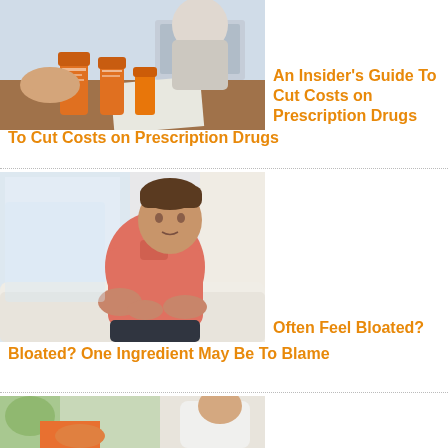[Figure (photo): Hands holding orange prescription pill bottles on a wooden table with a laptop and papers in the background]
An Insider's Guide To Cut Costs on Prescription Drugs
[Figure (photo): Man in orange shirt sitting on a couch holding his stomach, appearing to be in pain or discomfort from bloating]
Often Feel Bloated? One Ingredient May Be To Blame
[Figure (photo): Doctor in white coat consulting with a patient, partial view]